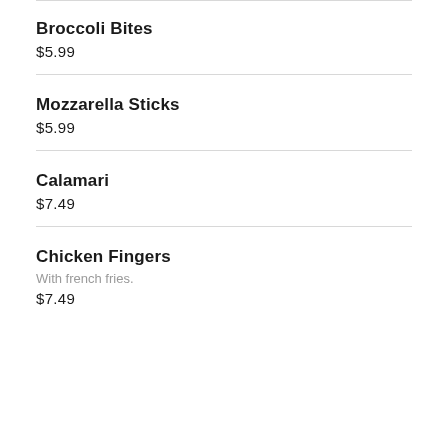Broccoli Bites
$5.99
Mozzarella Sticks
$5.99
Calamari
$7.49
Chicken Fingers
With french fries.
$7.49